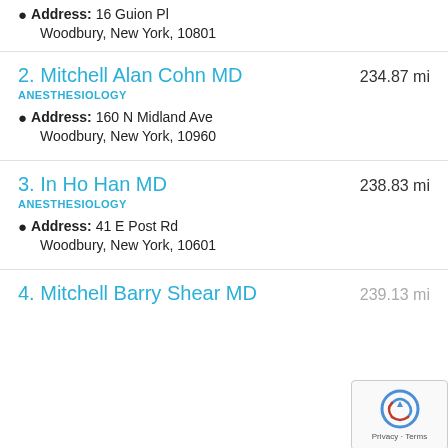Address: 16 Guion Pl
Woodbury, New York, 10801
2. Mitchell Alan Cohn MD — 234.87 mi
ANESTHESIOLOGY
Address: 160 N Midland Ave
Woodbury, New York, 10960
3. In Ho Han MD — 238.83 mi
ANESTHESIOLOGY
Address: 41 E Post Rd
Woodbury, New York, 10601
4. Mitchell Barry Shear MD — 239.13 mi